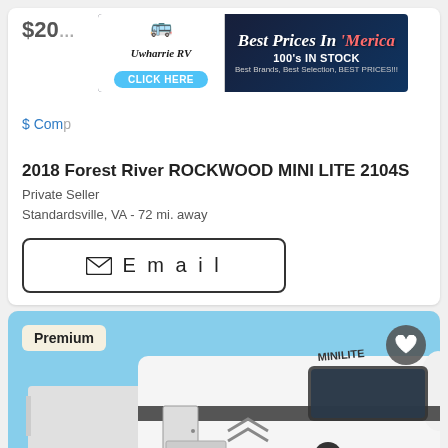[Figure (screenshot): Advertisement banner for Uwharrie RV with text 'Best Prices In Merica' and '100's IN STOCK, Best Brands, Best Selection, BEST PRICES!!!' with a CLICK HERE button]
2018 Forest River ROCKWOOD MINI LITE 2104S
Private Seller
Standardsville, VA - 72 mi. away
Email
[Figure (photo): Photo of a Forest River Rockwood Mini Lite travel trailer RV with 'MINILITE' branding on the front, white exterior with black accents, parked in a lot with blue sky background. Premium badge in top-left corner and heart/favorite button in top-right.]